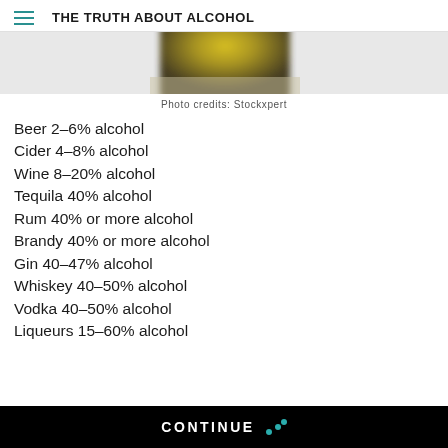THE TRUTH ABOUT ALCOHOL
[Figure (photo): Partial photo of alcohol bottle with golden liquid, cropped at top of page]
Photo credits: Stockxpert
Beer 2–6% alcohol
Cider 4–8% alcohol
Wine 8–20% alcohol
Tequila 40% alcohol
Rum 40% or more alcohol
Brandy 40% or more alcohol
Gin 40–47% alcohol
Whiskey 40–50% alcohol
Vodka 40–50% alcohol
Liqueurs 15–60% alcohol
CONTINUE